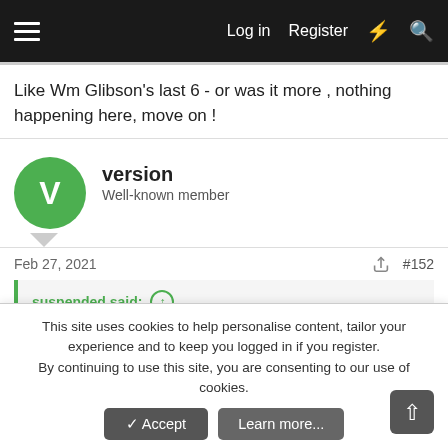Log in  Register
Like Wm Glibson's last 6 - or was it more , nothing happening here, move on !
version
Well-known member
Feb 27, 2021  #152
suspended said:
End this pseudery and give us your take on The Names, coward
It feels much fresher than White Noise. The conversations also make much more sense coming from bankers, risk analysts and
This site uses cookies to help personalise content, tailor your experience and to keep you logged in if you register.
By continuing to use this site, you are consenting to our use of cookies.